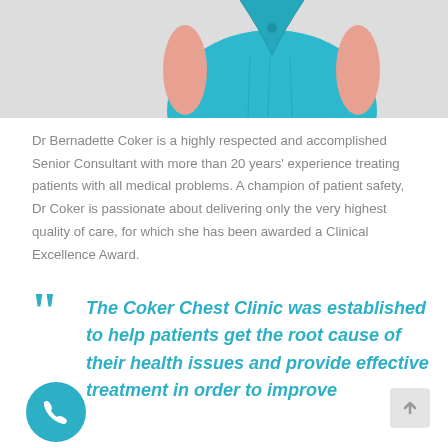[Figure (photo): Partial photo of Dr Bernadette Coker in teal/turquoise scrubs, cropped to show torso and arms only]
Dr Bernadette Coker is a highly respected and accomplished Senior Consultant with more than 20 years' experience treating patients with all medical problems. A champion of patient safety, Dr Coker is passionate about delivering only the very highest quality of care, for which she has been awarded a Clinical Excellence Award.
The Coker Chest Clinic was established to help patients get the root cause of their health issues and provide effective treatment in order to improve